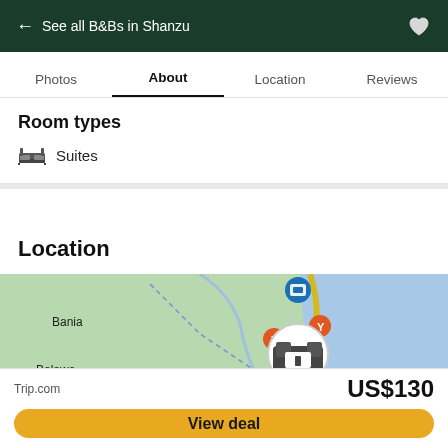← See all B&Bs in Shanzu
Photos  About  Location  Reviews
Room types
Suites
Location
[Figure (map): Map showing hotel location near Bania and Belewa with various map pins indicating nearby places and the hotel marker]
Trip.com  US$130
View deal